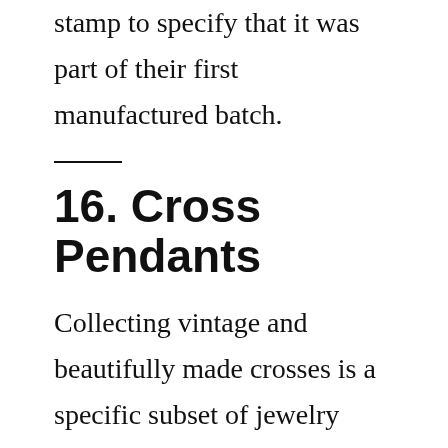first production run which has a numbered stamp to specify that it was part of their first manufactured batch.
16. Cross Pendants
Collecting vintage and beautifully made crosses is a specific subset of jewelry collecting enthusiasts. You can find so many different designs which are appealing to one's eye. It is also easy to collect as it doesn't take up much space and is both charming and